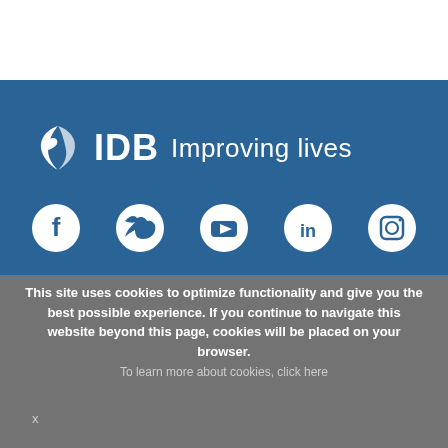[Figure (logo): IDB (Inter-American Development Bank) logo with leaf/globe icon and tagline 'Improving lives']
[Figure (infographic): Row of five white social media icons on blue background: Facebook, Twitter, YouTube, LinkedIn, Instagram]
This site uses cookies to optimize functionality and give you the best possible experience. If you continue to navigate this website beyond this page, cookies will be placed on your browser.
To learn more about cookies, click here
x